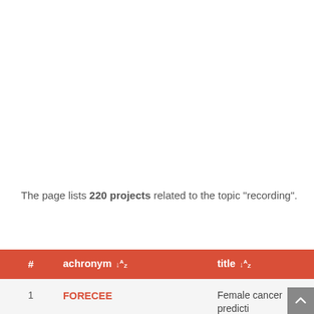The page lists 220 projects related to the topic "recording".
| # | achronym ↓ | title ↓ |
| --- | --- | --- |
| 1 | FORECEE | Female cancer predicti… using cervical omics to individualise screening |